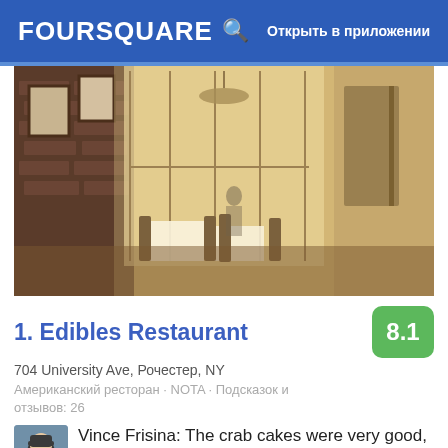FOURSQUARE  🔍  Открыть в приложении
[Figure (photo): Interior of Edibles Restaurant showing dining room with brick walls, large windows, wooden chairs and tables with white tablecloths, warm natural light]
1. Edibles Restaurant
704 University Ave, Рочестер, NY
Американский ресторан · NOTA · Подсказок и отзывов: 26
Vince Frisina: The crab cakes were very good, with chicks of fresh crab and just the right spice to the remoulade. My braised pork was tender and juicy, and my